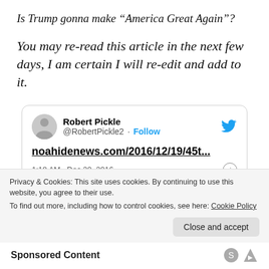Is Trump gonna make “America Great Again”?
You may re-read this article in the next few days, I am certain I will re-edit and add to it.
[Figure (screenshot): Embedded tweet card from @RobertPickle2 showing link noahidenews.com/2016/12/19/45t... posted at 1:18 AM Dec 20, 2016]
Privacy & Cookies: This site uses cookies. By continuing to use this website, you agree to their use.
To find out more, including how to control cookies, see here: Cookie Policy
Sponsored Content